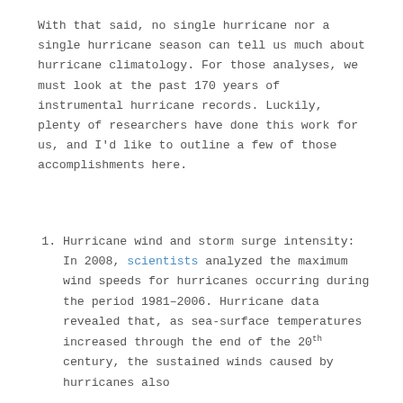With that said, no single hurricane nor a single hurricane season can tell us much about hurricane climatology. For those analyses, we must look at the past 170 years of instrumental hurricane records. Luckily, plenty of researchers have done this work for us, and I'd like to outline a few of those accomplishments here.
Hurricane wind and storm surge intensity: In 2008, scientists analyzed the maximum wind speeds for hurricanes occurring during the period 1981–2006. Hurricane data revealed that, as sea-surface temperatures increased through the end of the 20th century, the sustained winds caused by hurricanes also